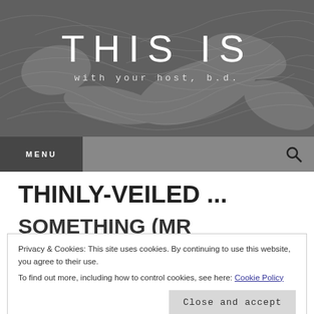[Figure (illustration): Dark gray abstract banner with horizontal line patterns and organic swirling shapes, serving as website header background]
THIS IS
with your host, b.d.
MENU
THINLY-VEILED ...
SOMETHING (MR
Privacy & Cookies: This site uses cookies. By continuing to use this website, you agree to their use.
To find out more, including how to control cookies, see here: Cookie Policy
Close and accept